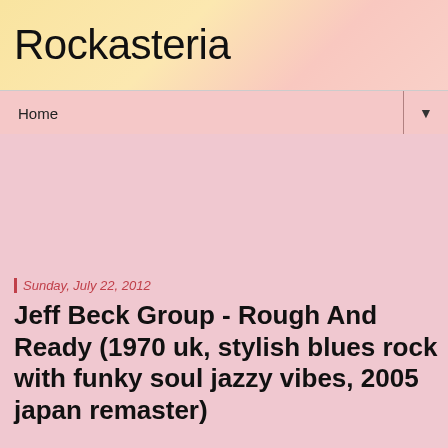Rockasteria
Home
Sunday, July 22, 2012
Jeff Beck Group - Rough And Ready (1970 uk, stylish blues rock with funky soul jazzy vibes, 2005 japan remaster)
[Figure (photo): Album cover for Jeff Beck Group - Rough And Ready, showing two men's faces in black and white, with text 'JEFF BECK GROUP ROUGH AND READY' in spaced letters in the center]